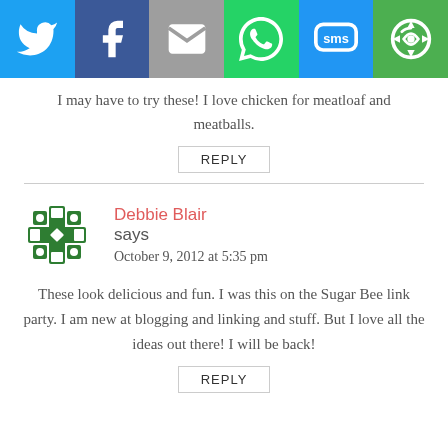[Figure (other): Social share bar with Twitter, Facebook, Email, WhatsApp, SMS, and Share icons on colored backgrounds]
I may have to try these! I love chicken for meatloaf and meatballs.
REPLY
[Figure (illustration): Green decorative avatar icon with geometric cross/snowflake pattern]
Debbie Blair says
October 9, 2012 at 5:35 pm
These look delicious and fun. I was this on the Sugar Bee link party. I am new at blogging and linking and stuff. But I love all the ideas out there! I will be back!
REPLY